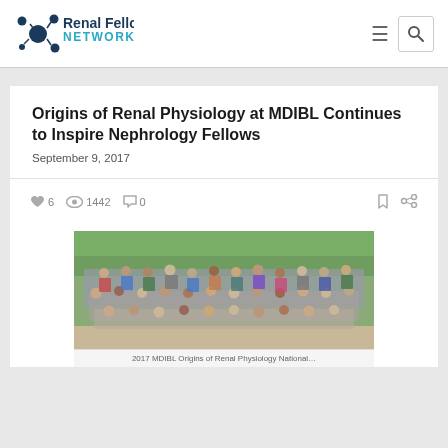Renal Fellow Network
Origins of Renal Physiology at MDIBL Continues to Inspire Nephrology Fellows
September 9, 2017
👍 6  👁 1442  💬 0
[Figure (photo): Group photo of nephrology fellows and faculty at MDIBL, 2017 Origins of Renal Physiology National course, standing outdoors in front of greenery]
2017 MDIBL Origins of Renal Physiology National...